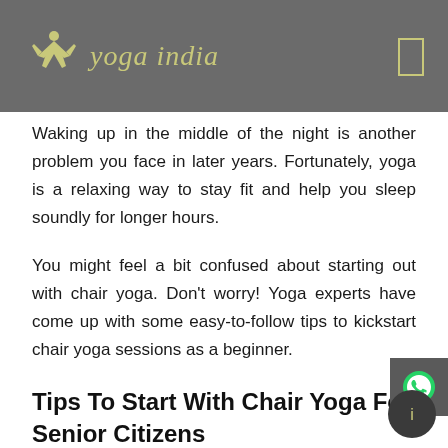yoga india
Waking up in the middle of the night is another problem you face in later years. Fortunately, yoga is a relaxing way to stay fit and help you sleep soundly for longer hours.
You might feel a bit confused about starting out with chair yoga. Don't worry! Yoga experts have come up with some easy-to-follow tips to kickstart chair yoga sessions as a beginner.
Tips To Start With Chair Yoga For Senior Citizens
Although, chair yoga is a gentle style of yoga that is suitable for individuals of all age groups, however, you